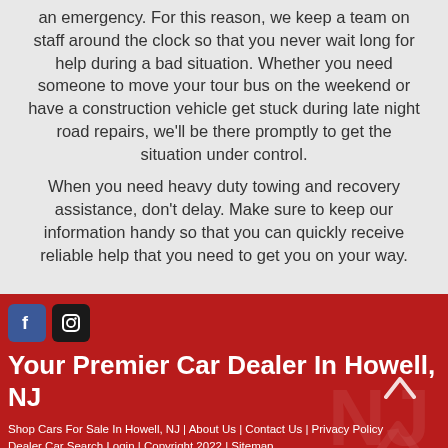an emergency. For this reason, we keep a team on staff around the clock so that you never wait long for help during a bad situation. Whether you need someone to move your tour bus on the weekend or have a construction vehicle get stuck during late night road repairs, we'll be there promptly to get the situation under control.
When you need heavy duty towing and recovery assistance, don't delay. Make sure to keep our information handy so that you can quickly receive reliable help that you need to get you on your way.
Your Premier Car Dealer In Howell, NJ
Shop Cars For Sale In Howell, NJ | About Us | Contact Us | Privacy Policy
Dealer Car Search Login | Copyright 2022 | Sitemap
Certified Auto Mall INC 5499 Route 9, Howell, NJ 07731 732-730-1200